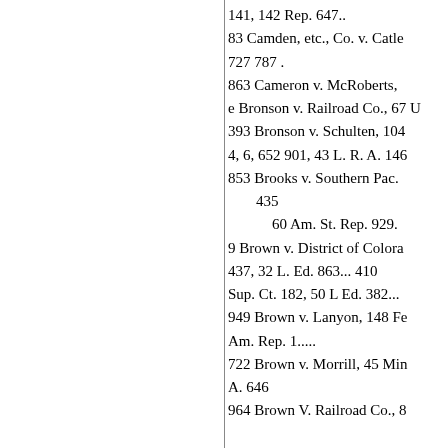141, 142 Rep. 647..
83 Camden, etc., Co. v. Catle
727 787 .
863 Cameron v. McRoberts,
e Bronson v. Railroad Co., 67 U
393 Bronson v. Schulten, 104
4, 6, 652 901, 43 L. R. A. 146
853 Brooks v. Southern Pac.
435
60 Am. St. Rep. 929.
9 Brown v. District of Colorado 437, 32 L. Ed. 863... 410
Sup. Ct. 182, 50 L Ed. 382...
949 Brown v. Lanyon, 148 Fe Am. Rep. 1.....
722 Brown v. Morrill, 45 Min A. 646
964 Brown V. Railroad Co., 8